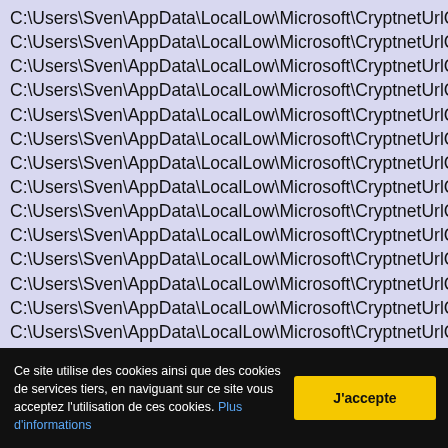C:\Users\Sven\AppData\LocalLow\Microsoft\CryptnetUrlCache\Cont...
C:\Users\Sven\AppData\LocalLow\Microsoft\CryptnetUrlCache\Meta...
C:\Users\Sven\AppData\LocalLow\Microsoft\CryptnetUrlCache\Meta...
C:\Users\Sven\AppData\LocalLow\Microsoft\CryptnetUrlCache\Meta...
C:\Users\Sven\AppData\LocalLow\Microsoft\CryptnetUrlCache\Meta...
C:\Users\Sven\AppData\LocalLow\Microsoft\CryptnetUrlCache\Meta...
C:\Users\Sven\AppData\LocalLow\Microsoft\CryptnetUrlCache\Meta...
C:\Users\Sven\AppData\LocalLow\Microsoft\CryptnetUrlCache\Meta...
C:\Users\Sven\AppData\LocalLow\Microsoft\CryptnetUrlCache\Meta...
C:\Users\Sven\AppData\LocalLow\Microsoft\CryptnetUrlCache\Meta...
C:\Users\Sven\AppData\LocalLow\Microsoft\CryptnetUrlCache\Meta...
C:\Users\Sven\AppData\LocalLow\Microsoft\CryptnetUrlCache\Meta...
C:\Users\Sven\AppData\LocalLow\Microsoft\CryptnetUrlCache\Meta...
C:\Users\Sven\AppData\LocalLow\Microsoft\CryptnetUrlCache\Meta...
C:\Users\Sven\AppData\LocalLow\Microsoft\CryptnetUrlCache\Meta...
C:\Users\Sven\AppData\LocalLow\Microsoft\CryptnetUrlCache\Meta...
C:\Users\Sven\AppData\LocalLow\Microsoft\CryptnetUrlCache\Meta...
C:\Users\Sven\AppData\LocalLow\Microsoft\CryptnetUrlCache\Meta...
C:\Users\Sven\AppData\LocalLow\Microsoft\CryptnetUrlCache\Meta...
Ce site utilise des cookies ainsi que des cookies de services tiers, en naviguant sur ce site vous acceptez l'utilisation de ces cookies. Plus d'informations